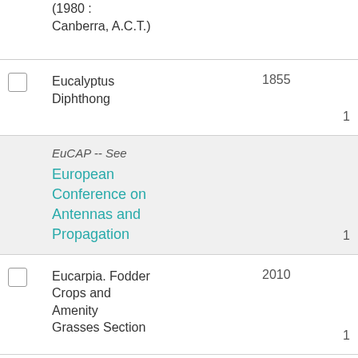(1980 : Canberra, A.C.T.)
Eucalyptus Diphthong 1855 1
EuCAP -- See European Conference on Antennas and Propagation 1
Eucarpia. Fodder Crops and Amenity Grasses Section 2010 1